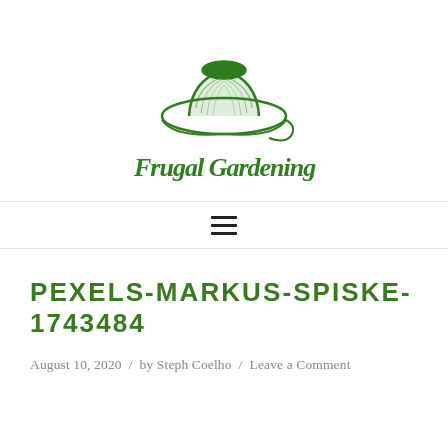[Figure (logo): Frugal Gardening logo: green illustrated gardening hat above green cursive script text reading 'Frugal Gardening']
[Figure (other): Hamburger menu icon (three horizontal lines)]
PEXELS-MARKUS-SPISKE-1743484
August 10, 2020 / by Steph Coelho / Leave a Comment